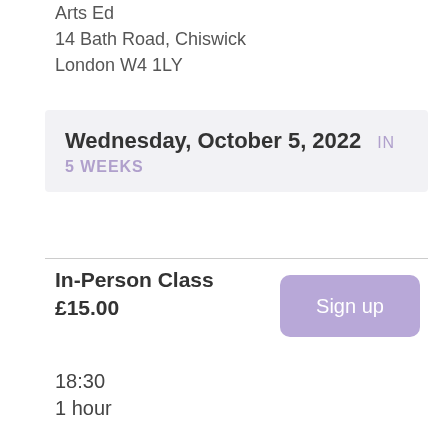Arts Ed
14 Bath Road, Chiswick
London W4 1LY
Wednesday, October 5, 2022  IN 5 WEEKS
In-Person Class
£15.00
Sign up
18:30
1 hour